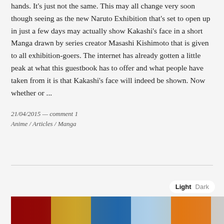hands. It's just not the same. This may all change very soon though seeing as the new Naruto Exhibition that's set to open up in just a few days may actually show Kakashi's face in a short Manga drawn by series creator Masashi Kishimoto that is given to all exhibition-goers. The internet has already gotten a little peak at what this guestbook has to offer and what people have taken from it is that Kakashi's face will indeed be shown. Now whether or ...
21/04/2015 — comment 1
Anime / Articles / Manga
[Figure (photo): Anime character collage image strip showing multiple anime characters with colorful backgrounds including red, yellow, blue tones — appears to be from Bleach or similar anime]